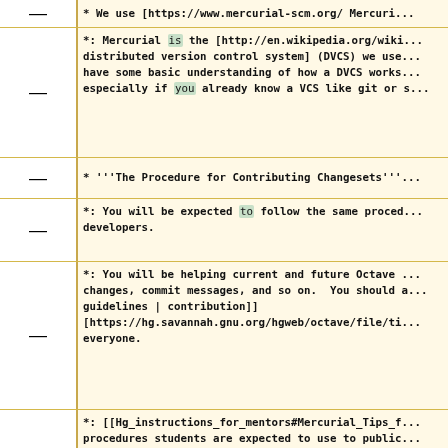*: We use [https://www.mercurial-scm.org/ Mercuri...
*: Mercurial is the [http://en.wikipedia.org/wiki... distributed version control system] (DVCS) we use... have some basic understanding of how a DVCS works... especially if you already know a VCS like git or s...
* '''The Procedure for Contributing Changesets'''
*: You will be expected to follow the same proced... developers.
*: You will be helping current and future Octave ... changes, commit messages, and so on.  You should a... guidelines | contribution]] [https://hg.savannah.gnu.org/hgweb/octave/file/ti... everyone.
*: [[Hg_instructions_for_mentors#Mercurial_Tips_f... procedures students are expected to use to public... mercurial repo during their work.
* '''The Maintainers Mailing List'''
*: We primarily use [https://lists.gnu.org/mailma...